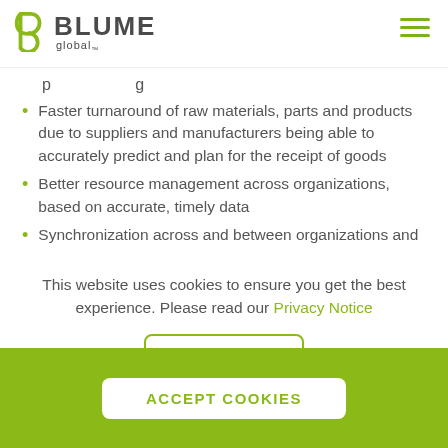Blume Global
Faster turnaround of raw materials, parts and products due to suppliers and manufacturers being able to accurately predict and plan for the receipt of goods
Better resource management across organizations, based on accurate, timely data
Synchronization across and between organizations and
This website uses cookies to ensure you get the best experience. Please read our Privacy Notice
DISMISS
ACCEPT COOKIES